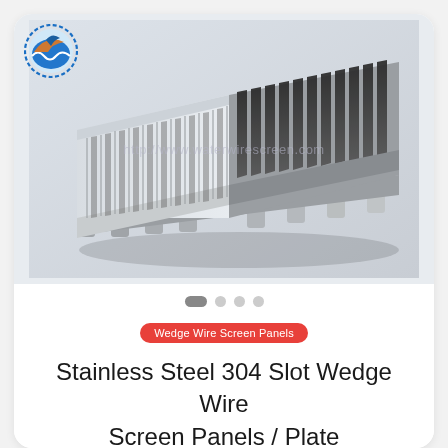[Figure (photo): Stainless steel 304 wedge wire screen panel/plate product photo showing parallel wire slots on a flat plate with mounting feet, photographed at an angle on a white/grey gradient background. A logo (circular blue/orange bird emblem) appears top-left. Watermark text 'http://www.waterwirescreen.com' overlaid on image. Slider dots (one active pill, three inactive circles) below image.]
Wedge Wire Screen Panels
Stainless Steel 304 Slot Wedge Wire Screen Panels / Plate